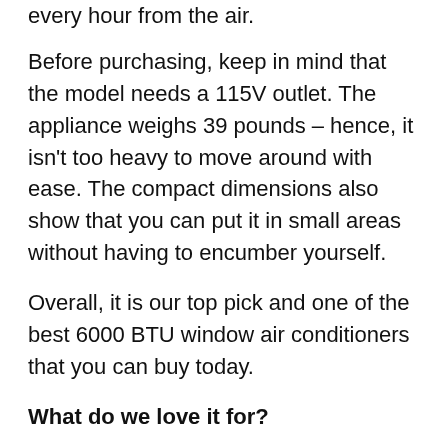every hour from the air.
Before purchasing, keep in mind that the model needs a 115V outlet. The appliance weighs 39 pounds – hence, it isn't too heavy to move around with ease. The compact dimensions also show that you can put it in small areas without having to encumber yourself.
Overall, it is our top pick and one of the best 6000 BTU window air conditioners that you can buy today.
What do we love it for?
Energy efficient
Convenient side panels